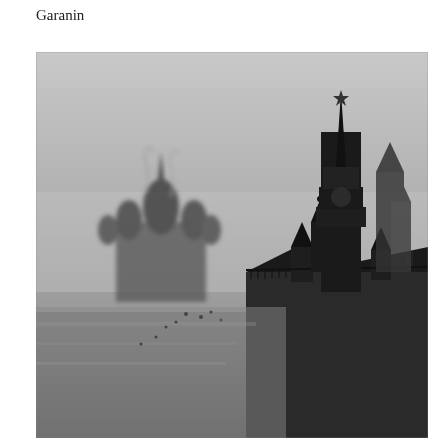Garanin
[Figure (photo): Black and white photograph of Red Square in Moscow, showing Saint Basil's Cathedral in the misty background on the left, and the GUM department store building with its ornate towers and rooftops in the foreground on the right, with the Spasskaya Tower of the Kremlin visible with its red star at top center-right. The square is wide and largely empty with a few small figures visible.]